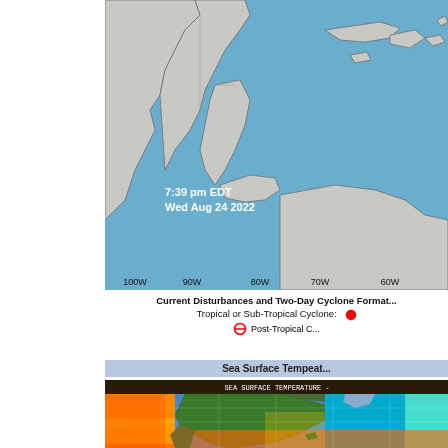[Figure (map): Tropical cyclone disturbance map showing Caribbean and Central America region with coordinates, timestamp 7:39 pm EDT Wed Aug 24 2022, longitude labels 100W 90W 80W 70W 60W]
Current Disturbances and Two-Day Cyclone Forma... Tropical or Sub-Tropical Cyclone: [red circle icon]
[crossed circle] Post-Tropical C...
Sea Surface Tempeat...
[Figure (map): Sea Surface Temperature global map showing North America and surrounding oceans with color-coded temperature scale from cold (blue/cyan) to warm (orange/red)]